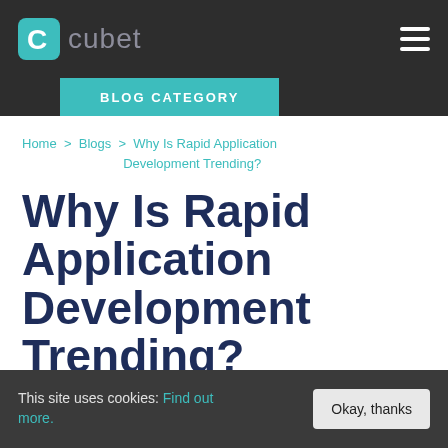cubet
BLOG CATEGORY
Home > Blogs > Why Is Rapid Application Development Trending?
Why Is Rapid Application Development Trending?
This site uses cookies: Find out more.
Okay, thanks